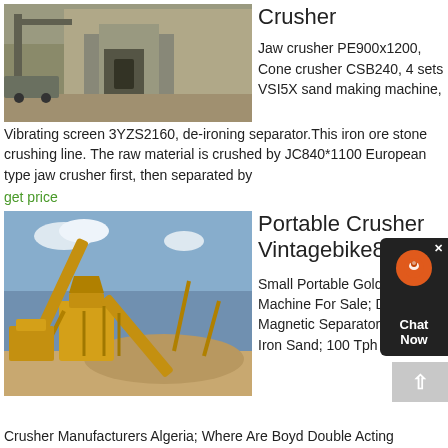[Figure (photo): Quarry stone crushing plant with jaw crusher and machinery at a rocky cliff site]
Crusher
Jaw crusher PE900x1200, Cone crusher CSB240, 4 sets VSI5X sand making machine, Vibrating screen 3YZS2160, de-ironing separator.This iron ore stone crushing line. The raw material is crushed by JC840*1100 European type jaw crusher first, then separated by
get price
[Figure (photo): Yellow portable crusher and conveyor belt equipment on a sandy construction site under blue sky]
Portable Crusher Vintagebike83.Fr
Small Portable Gold Panning Machine For Sale; Dry Magnetic Separator Select Iron Sand; 100 Tph Cone Crusher Manufacturers Algeria; Where Are Boyd Double Acting